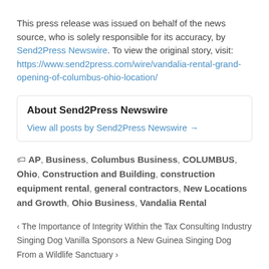This press release was issued on behalf of the news source, who is solely responsible for its accuracy, by Send2Press Newswire. To view the original story, visit: https://www.send2press.com/wire/vandalia-rental-grand-opening-of-columbus-ohio-location/
About Send2Press Newswire
View all posts by Send2Press Newswire →
AP, Business, Columbus Business, COLUMBUS, Ohio, Construction and Building, construction equipment rental, general contractors, New Locations and Growth, Ohio Business, Vandalia Rental
‹ The Importance of Integrity Within the Tax Consulting Industry
Singing Dog Vanilla Sponsors a New Guinea Singing Dog From a Wildlife Sanctuary ›